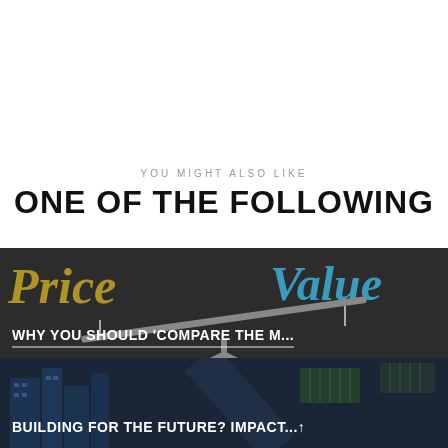YOU MIGHT ALSO LIKE
ONE OF THE FOLLOWING
[Figure (photo): Dark background image showing a balance/scale with 'Price' written in gold/yellow italic text on the left and 'Value' written in blue italic text on the right, with a teeter-totter or seesaw graphic in the center]
WHY YOU SHOULD 'COMPARE THE M...
[Figure (photo): Dark blue-tinted photo of modern buildings and solar panels, representing construction and future building]
BUILDING FOR THE FUTURE? IMPACT...↑